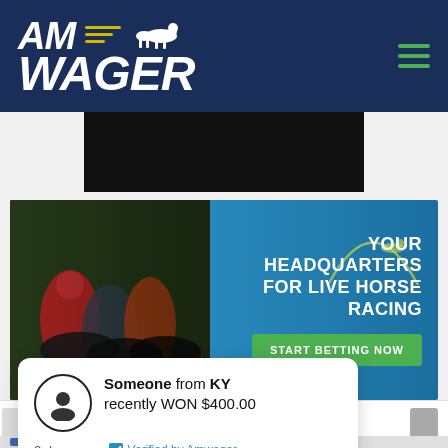[Figure (logo): AmWager logo with horse racing silhouette and yellow speed lines on dark navy background]
[Figure (photo): Dark black banner/video area in center]
[Figure (infographic): Horse racing promotional banner with horses photo on left and text on right: YOUR HEADQUARTERS FOR LIVE HORSE RACING with START BETTING NOW green button]
YOUR HEADQUARTERS FOR LIVE HORSE RACING
START BETTING NOW
Someone from KY recently WON $400.00
2 days ago
Verified by Amwager